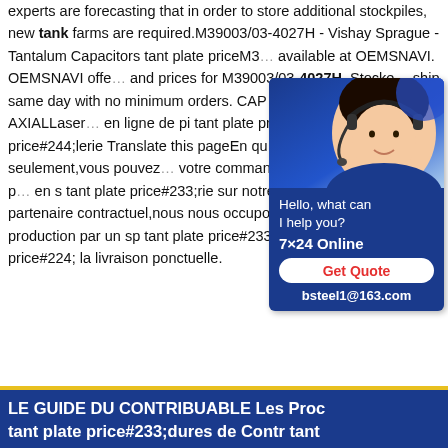experts are forecasting that in order to store additional stockpiles, new tank farms are required.M39003/03-4027H - Vishay Sprague - Tantalum Capacitors tant plate priceM3… available at OEMSNAVI. OEMSNAVI offe… and prices for M39003/03-4027H. Stocke… ship same day with no minimum orders. CAP TANT 270UF 10% 10V AXIALLaser… en ligne de pi tant plate price#232;ces de… price#244;lerie Translate this pageEn qu… price#233;tapes seulement,vous pouvez… votre commande pour des pi tant plate p… en s tant plate price#233;rie sur notre pla… que votre partenaire contractuel,nous nous occupons de tout de la production par un sp tant plate price#233;cialiste tant plate price#224; la livraison ponctuelle.
[Figure (other): Chat widget with a customer service representative photo (woman with headset), text 'Hello, what can I help you?', '7×24 Online', a red 'Get Quote' button, and email 'bsteel1@163.com' on a dark blue background.]
LE GUIDE DU CONTRIBUABLE Les Proc tant plate price#233;dures de Contr tant…